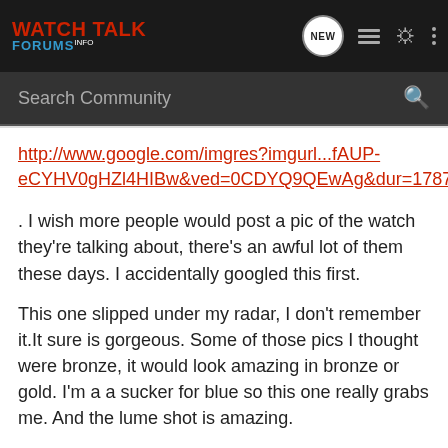[Figure (screenshot): Watch Talk Forums navigation bar with logo, NEW bubble, list icon, user icon, and more options icon]
[Figure (screenshot): Dark search bar with 'Search Community' placeholder text and search icon]
http://www.google.com/imgres?imgurl...fAUP-eCYHV0gHZl4HIBw&ved=0CDYQ9QEwAg&dur=1787
. I wish more people would post a pic of the watch they're talking about, there's an awful lot of them these days. I accidentally googled this first.
This one slipped under my radar, I don't remember it.It sure is gorgeous. Some of those pics I thought were bronze, it would look amazing in bronze or gold. I'm a a sucker for blue so this one really grabs me. And the lume shot is amazing.
LUM-TEC M43 photo shoot. Available now!